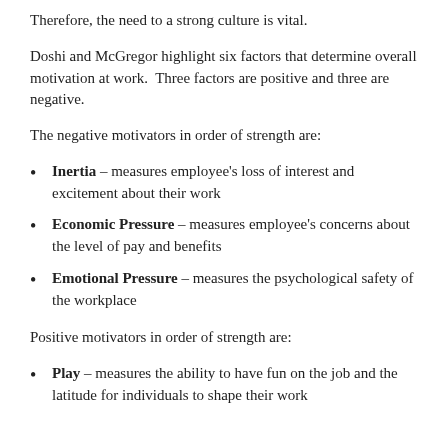Therefore, the need to a strong culture is vital.
Doshi and McGregor highlight six factors that determine overall motivation at work.  Three factors are positive and three are negative.
The negative motivators in order of strength are:
Inertia – measures employee's loss of interest and excitement about their work
Economic Pressure – measures employee's concerns about the level of pay and benefits
Emotional Pressure – measures the psychological safety of the workplace
Positive motivators in order of strength are:
Play – measures the ability to have fun on the job and the latitude for individuals to shape their work